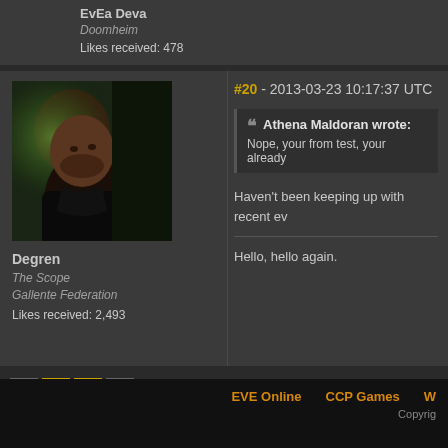EvEa Deva
Doomheim
Likes received: 478
#20 - 2013-03-23 10:17:37 UTC
Athena Maldoran wrote: Nope, your from test, your already
[Figure (photo): Avatar portrait of forum user Degren, showing a dark-skinned person in profile against a green-lit background]
Degren
The Scope
Gallente Federation
Likes received: 2,493
Haven't been keeping up with recent ev
Hello, hello again.
1
2
3
EVE Online   CCP Games   W
Copyrig